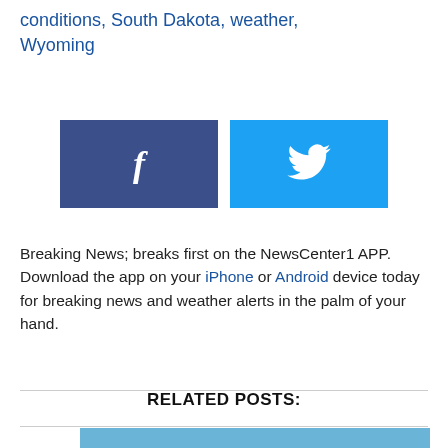conditions, South Dakota, weather, Wyoming
[Figure (infographic): Facebook and Twitter social share buttons side by side]
Breaking News; breaks first on the NewsCenter1 APP. Download the app on your iPhone or Android device today for breaking news and weather alerts in the palm of your hand.
RELATED POSTS:
[Figure (photo): Partial photo of a building with blue sky, bottom of page]